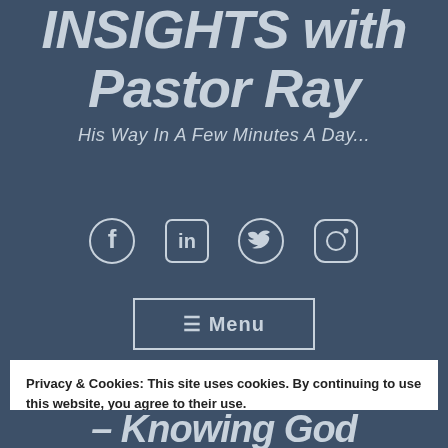INSIGHTS with Pastor Ray
His Way In A Few Minutes A Day...
[Figure (infographic): Social media icons: Facebook, LinkedIn, Twitter, Instagram]
☰ Menu
Privacy & Cookies: This site uses cookies. By continuing to use this website, you agree to their use.
To find out more, including how to control cookies, see here: Cookie Policy
Close and accept
– Knowing God